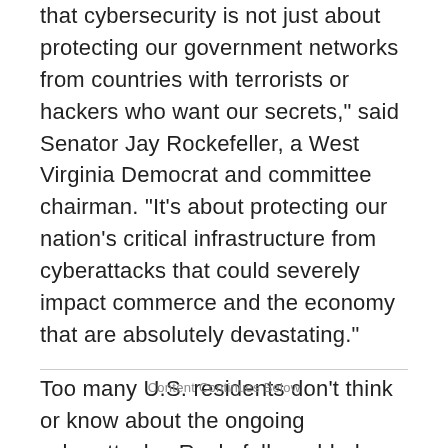that cybersecurity is not just about protecting our government networks from countries with terrorists or hackers who want our secrets," said Senator Jay Rockefeller, a West Virginia Democrat and committee chairman. "It's about protecting our nation's critical infrastructure from cyberattacks that could severely impact commerce and the economy that are absolutely devastating."

Too many U.S. residents don't think or know about the ongoing cyberattacks, Rockefeller added.
Content Continues Below